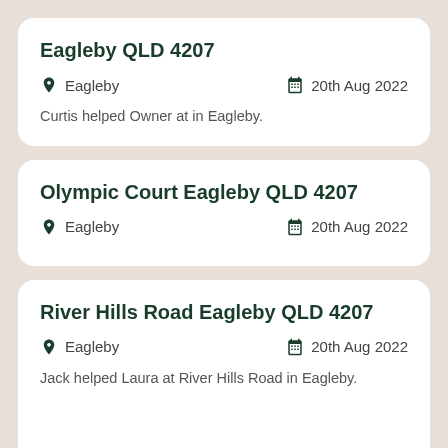Eagleby QLD 4207
Eagleby   20th Aug 2022
Curtis helped Owner at in Eagleby.
Olympic Court Eagleby QLD 4207
Eagleby   20th Aug 2022
River Hills Road Eagleby QLD 4207
Eagleby   20th Aug 2022
Jack helped Laura at River Hills Road in Eagleby.